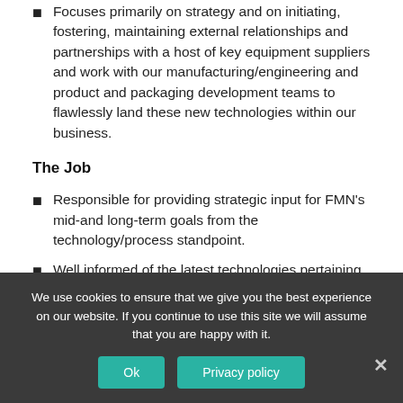Focuses primarily on strategy and on initiating, fostering, maintaining external relationships and partnerships with a host of key equipment suppliers and work with our manufacturing/engineering and product and packaging development teams to flawlessly land these new technologies within our business.
The Job
Responsible for providing strategic input for FMN's mid-and long-term goals from the technology/process standpoint.
Well informed of the latest technologies pertaining to the food industry.
Partner with key stakeholders to scope, develop and execute process improvement projects.
We use cookies to ensure that we give you the best experience on our website. If you continue to use this site we will assume that you are happy with it.